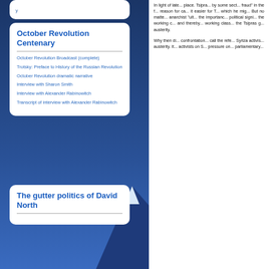October Revolution Centenary
October Revolution Broadcast (complete)
Trotsky: Preface to History of the Russian Revolution
October Revolution dramatic narrative
Interview with Sharon Smith
Interview with Alexander Rabinowitch
Transcript of interview with Alexander Rabinowitch
The gutter politics of David North
In light of late... place. Tsipra... by some sect... fraud" in the f... reason for ca... it easier for T... which he mig... But no matte... anarchist "ult... the importanc... political signi... the working c... and thereby... working class... the Tsipras g... austerity.
Why then di... confrontation... call the refe... Syriza activis... austerity. It... activists on S... pressure on... parliamentary...